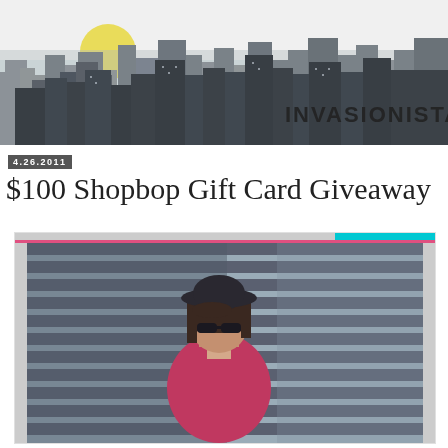[Figure (illustration): Invasionista blog header with city skyline silhouette illustration, yellow sun, and 'INVASIONISTA' text]
4.26.2011
$100 Shopbop Gift Card Giveaway
[Figure (photo): Young woman wearing a dark bucket hat, sunglasses, and a pink shirt, standing in front of a wooden wall with alternating light and shadow stripes]